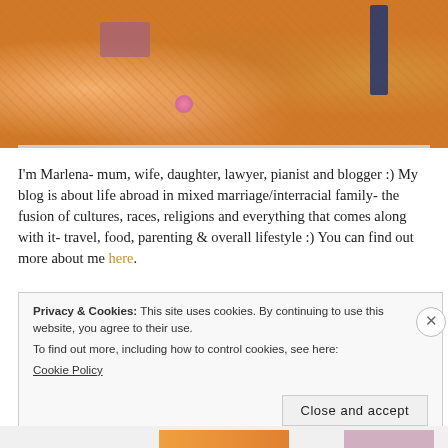[Figure (photo): Close-up photo of colorful traditional Indian garments/sarees in orange, gold, and pink tones with embroidery and jewellery details]
I'm Marlena- mum, wife, daughter, lawyer, pianist and blogger :) My blog is about life abroad in mixed marriage/interracial family- the fusion of cultures, races, religions and everything that comes along with it- travel, food, parenting & overall lifestyle :) You can find out more about me here.
Privacy & Cookies: This site uses cookies. By continuing to use this website, you agree to their use.
To find out more, including how to control cookies, see here:
Cookie Policy

Close and accept